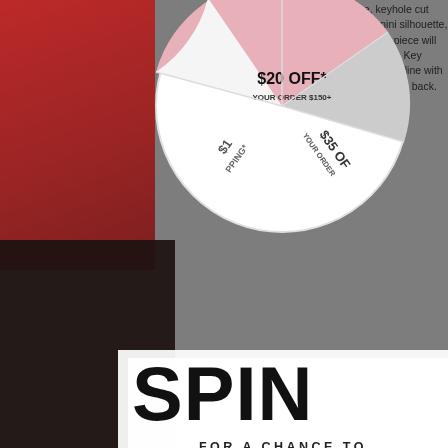[Figure (infographic): Spin-to-win wheel overlay on an e-commerce product page. The wheel shows three segments: '$20 OFF* YOUR ORDER $150+', '$35 OF[F] YOUR ORDER [amount]', and '$1 [SHIP]PING*'. A location pin icon sits at the top. Below the wheel is a white semi-transparent banner with large bold text reading 'SPIN' then 'FOR A CHANCE TO' then 'SAVE'. Behind the overlay, product description text and clothing images are partially visible.]
halter neckline, keyhole cut outs, and flared mini silhouette, this and must-have piece will have all eyes on you. Key Features deep V-neckline with front & back adjustable back.
$65.00
ADD TO CART
Ruffle Mini Dress - black floral
floral ele BOCPOP feature Wrap Mini Dress. The flouncy, layered and tiered skirt add a feminine, free this relaxed shape. Finished in a semi-sheer fabric, this also us a hint
SPIN
FOR A CHANCE TO
SAVE
$20 OFF* YOUR ORDER $150+
$35 OF[F] YOUR ORDER [amount]
$1 SHIPPING*